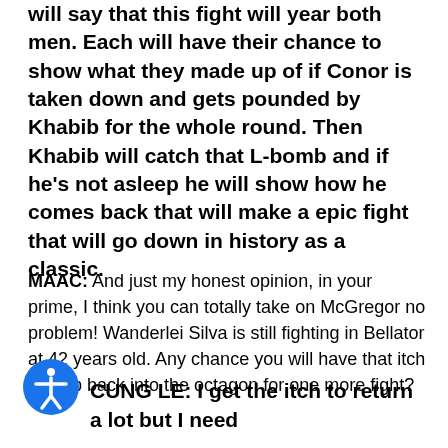will say that this fight will year both men. Each will have their chance to show what they made up of if Conor is taken down and gets pounded by Khabib for the whole round. Then Khabib will catch that L-bomb and if he's not asleep he will show how he comes back that will make a epic fight that will go down in history as a classic.
MAAC: And just my honest opinion, in your prime, I think you can totally take on McGregor no problem! Wanderlei Silva is still fighting in Bellator at 42 years old. Any chance you will have that itch to step back into the octagon for one more fight?
CUNG LE: I get the itch to return a lot but I need